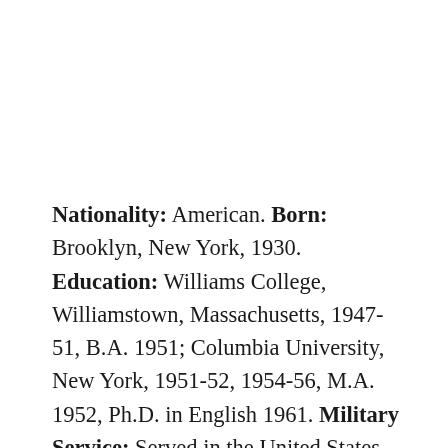Nationality: American. Born: Brooklyn, New York, 1930. Education: Williams College, Williamstown, Massachusetts, 1947-51, B.A. 1951; Columbia University, New York, 1951-52, 1954-56, M.A. 1952, Ph.D. in English 1961. Military Service: Served in the United States Coast Guard 1952-54. Career: Instructor and assistant professor of English, University of New Hampshire, Durham, 1956-62. Since 1964 professor of English, Queens College, City